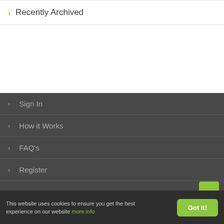Recently Archived
Sign In
How it Works
FAQ's
Register
This website uses cookies to ensure you get the best experience on our website more info